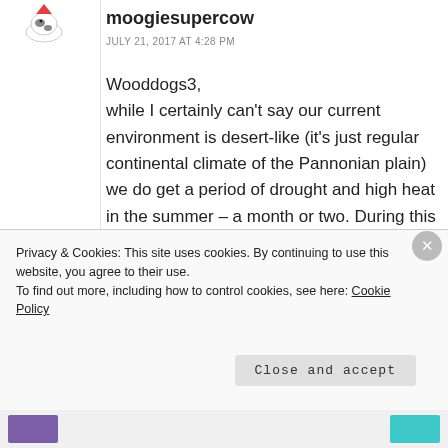[Figure (illustration): Small cow avatar/mascot illustration in top left]
moogiesupercow
JULY 21, 2017 AT 4:28 PM
Wooddogs3,
while I certainly can't say our current environment is desert-like (it's just regular continental climate of the Pannonian plain) we do get a period of drought and high heat in the summer – a month or two. During this time, aronia is much less sensitive than the ribes family. I would say deep mulching
Privacy & Cookies: This site uses cookies. By continuing to use this website, you agree to their use.
To find out more, including how to control cookies, see here: Cookie Policy
Close and accept